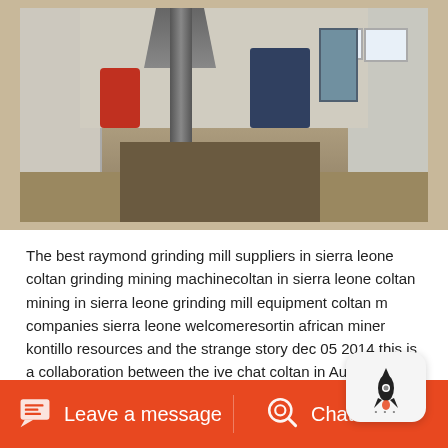[Figure (photo): Industrial interior photo showing mining/milling machinery. A tall central metal column/pipe with funnel-shaped top, red machinery on the left, blue equipment on the right, a control panel on the far right wall. The floor has dirt/debris. White walls with windows visible.]
The best raymond grinding mill suppliers in sierra leone coltan grinding mining machinecoltan in sierra leone coltan mining in sierra leone grinding mill equipment coltan m companies sierra leone welcomeresortin african miner kontillo resources and the strange story dec 05 2014 this is a collaboration between the ive chat coltan in Aug 30 2021 Kono District is most synonymous with mining than perhaps any other place in Sierra Leone The soils of Kono are home to some of the countrys previous minerals like diamond gold bauvite iron ore etc However this is the first